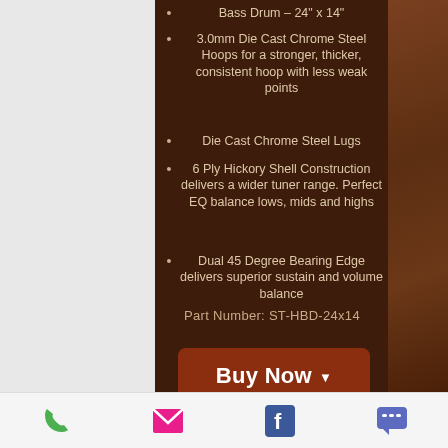Bass Drum – 24" x 14"
3.0mm Die Cast Chrome Steel Hoops for a stronger, thicker, consistent hoop with less weak points
Die Cast Chrome Steel Lugs
6 Ply Hickory Shell Construction delivers a wider tuner range. Perfect EQ balance lows, mids and highs
Dual 45 Degree Bearing Edge delivers superior sustain and volume balance
Part Number: ST-HBD-24x14
[Figure (screenshot): Orange/wood-finish bass drum with white drumhead branded 'Sawtooth', chrome hardware, on drum stand against dark brown wood-texture background]
Phone | Email | Facebook | Chat icons